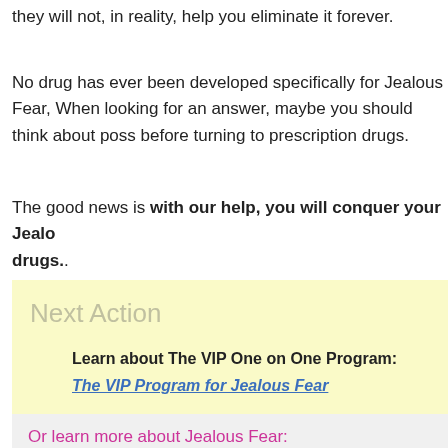they will not, in reality, help you eliminate it forever.
No drug has ever been developed specifically for Jealous Fear, When looking for an answer, maybe you should think about poss before turning to prescription drugs.
The good news is with our help, you will conquer your Jealous Fear without drugs..
Next Action
Learn about The VIP One on One Program:
The VIP Program for Jealous Fear
Discover The Home Study Program:
Vanquish Fear & Anxiety for Jealous Fear
Or learn more about Jealous Fear: